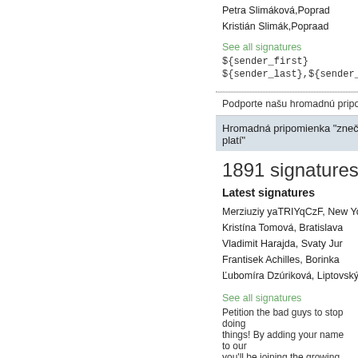Petra Slimáková,Poprad
Kristián Slimák,Popraad
See all signatures
${sender_first}
${sender_last},${sender_city}
Podporte našu hromadnú pripomi
Hromadná pripomienka "znečisťova platí"
1891 signatures so far
Latest signatures
Merziuziy yaTRIYqCzF, New York
Kristína Tomová, Bratislava
Vladimit Harajda, Svaty Jur
Frantisek Achilles, Borinka
Ľubomíra Dzúriková, Liptovský Mik
See all signatures
Petition the bad guys to stop doing things! By adding your name to our you'll be joining the growing chorus